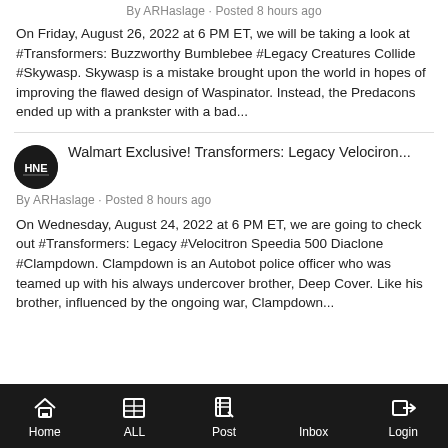By ARHaslage · Posted 8 hours ago
On Friday, August 26, 2022 at 6 PM ET, we will be taking a look at #Transformers: Buzzworthy Bumblebee #Legacy Creatures Collide #Skywasp.  Skywasp is a mistake brought upon the world in hopes of improving the flawed design of Waspinator.  Instead, the Predacons ended up with a prankster with a bad...
Walmart Exclusive! Transformers: Legacy Velociron...
By ARHaslage · Posted 8 hours ago
On Wednesday, August 24, 2022 at 6 PM ET, we are going to check out #Transformers: Legacy #Velocitron Speedia 500 Diaclone #Clampdown.  Clampdown is an Autobot police officer who was teamed up with his always undercover brother, Deep Cover.  Like his brother, influenced by the ongoing war, Clampdown...
Home  ALL  Post  Inbox  Login